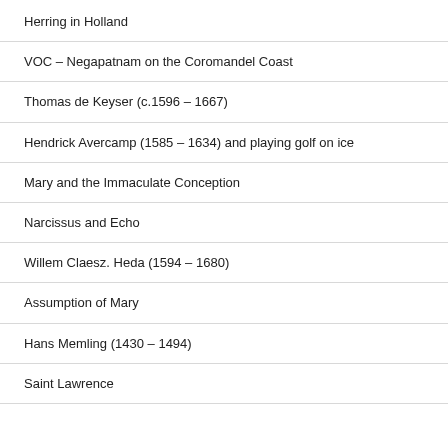Herring in Holland
VOC – Negapatnam on the Coromandel Coast
Thomas de Keyser (c.1596 – 1667)
Hendrick Avercamp (1585 – 1634) and playing golf on ice
Mary and the Immaculate Conception
Narcissus and Echo
Willem Claesz. Heda (1594 – 1680)
Assumption of Mary
Hans Memling (1430 – 1494)
Saint Lawrence